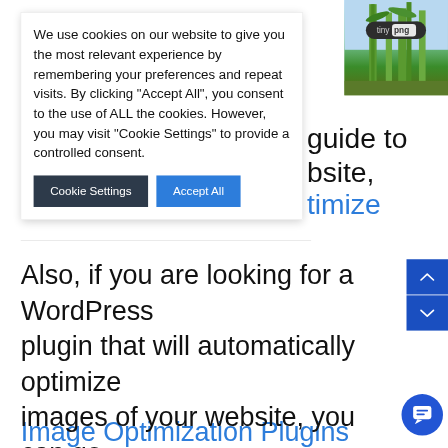We use cookies on our website to give you the most relevant experience by remembering your preferences and repeat visits. By clicking “Accept All”, you consent to the use of ALL the cookies. However, you may visit "Cookie Settings" to provide a controlled consent.
[Figure (logo): TinyPNG logo with bamboo background image in top right corner]
Cookie Settings
Accept All
Also, if you are looking for a WordPress plugin that will automatically optimize images of your website, you can go through the collection of Best WordPress Image Optimization Plugins